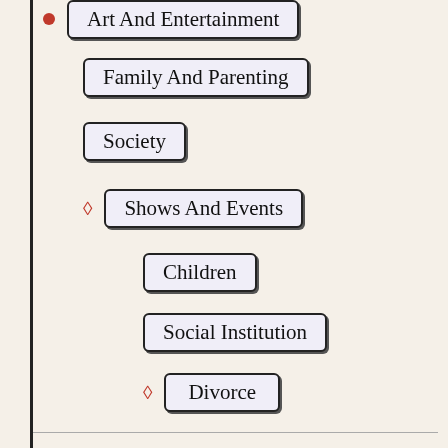Art And Entertainment
Family And Parenting
Society
Shows And Events
Children
Social Institution
Divorce
A Handful of Dust
Essay Preview: A Handful of Dust
Report this essay
Devotion and compassion toward one another,